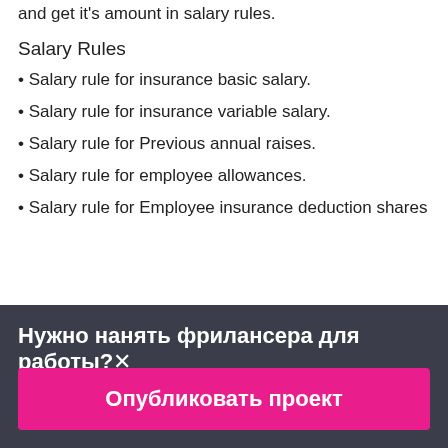and get it's amount in salary rules.
Salary Rules
• Salary rule for insurance basic salary.
• Salary rule for insurance variable salary.
• Salary rule for Previous annual raises.
• Salary rule for employee allowances.
• Salary rule for Employee insurance deduction shares
Нужно нанять фрилансера для работы?✕
Опубликовать проект